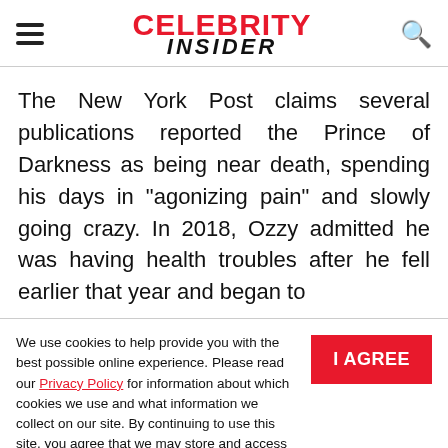Celebrity Insider
The New York Post claims several publications reported the Prince of Darkness as being near death, spending his days in "agonizing pain" and slowly going crazy. In 2018, Ozzy admitted he was having health troubles after he fell earlier that year and began to
We use cookies to help provide you with the best possible online experience. Please read our Privacy Policy for information about which cookies we use and what information we collect on our site. By continuing to use this site, you agree that we may store and access cookies on your device.